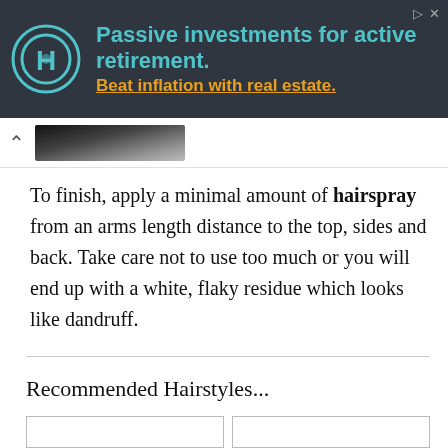[Figure (other): Advertisement banner with dark background. Logo on left (circular gear icon). Text reads 'Passive investments for active retirement. Beat inflation with real estate.' Small navigation icons top right.]
[Figure (photo): Navigation arrow (^) and a blurred/redacted dark photo strip showing partial image of a person's hair/head.]
To finish, apply a minimal amount of hairspray from an arms length distance to the top, sides and back. Take care not to use too much or you will end up with a white, flaky residue which looks like dandruff.
Recommended Hairstyles...